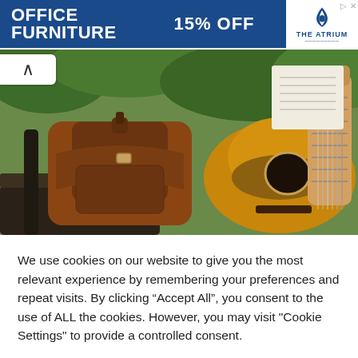[Figure (infographic): Advertisement banner: dark blue background with white bold text 'OFFICE FURNITURE' on the left, '15% OFF' in the center, and 'THE ATRIUM' logo on the right with white background.]
[Figure (photo): Photo of a brown leather backpack and an acoustic guitar leaning against each other outdoors, with green foliage in the background.]
We use cookies on our website to give you the most relevant experience by remembering your preferences and repeat visits. By clicking "Accept All", you consent to the use of ALL the cookies. However, you may visit "Cookie Settings" to provide a controlled consent.
Cookie Settings
Accept All